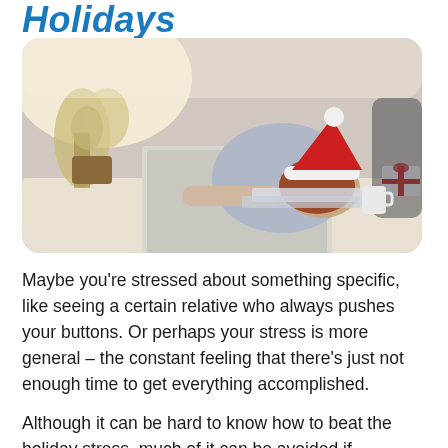Holidays
[Figure (photo): Person slumped over a laptop wearing a Santa hat, with a small wrapped gift on the desk, a Christmas tree and flowers in the background, suggesting holiday stress at work.]
Maybe you’re stressed about something specific, like seeing a certain relative who always pushes your buttons. Or perhaps your stress is more general – the constant feeling that there’s just not enough time to get everything accomplished.
Although it can be hard to know how to beat the holiday stress, much of it can be avoided if